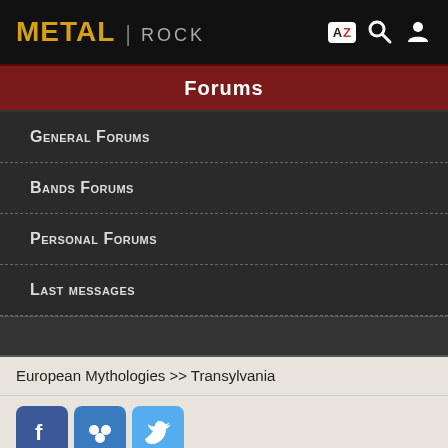METAL | ROCK
Forums
General Forums
Bands Forums
Personal Forums
Last messages
European Mythologies >> Transylvania
[Figure (screenshot): Social sharing icons row 1: Facebook, MySpace/groups, Twitter; row 2: StumbleUpon, Email/mail, Plus/add]